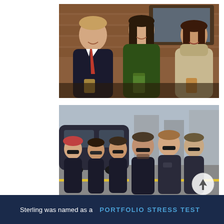[Figure (photo): Three people sitting at a restaurant booth smiling; man on left wearing suit and red tie, woman in center in dark green jacket holding a mint julep, woman on right in beige turtleneck with a drink, brick wall background]
[Figure (photo): Group of six people posing outdoors on a street, all wearing dark clothing/vests, sunglasses; cars and street visible in background; circular arrow icon in lower right corner]
Sterling was named as a   PORTFOLIO STRESS TEST